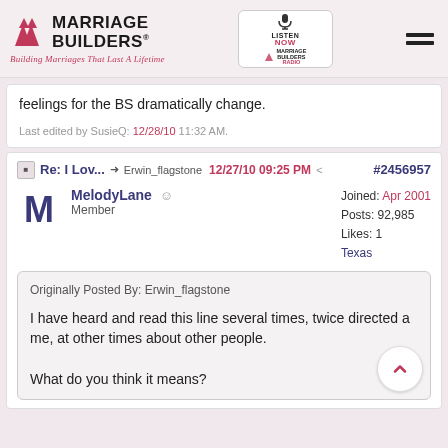[Figure (logo): Marriage Builders logo with red arrow triangles, tagline 'Building Marriages That Last A Lifetime', and a Marriage Builders Radio listen-now box]
feelings for the BS dramatically change.
Last edited by SusieQ: 12/28/10 11:32 AM.
Re: I Lov...  Erwin_flagstone  12/27/10 09:25 PM  #2456957
MelodyLane  Member  Joined: Apr 2001  Posts: 92,985  Likes: 1  Texas
Originally Posted By: Erwin_flagstone

I have heard and read this line several times, twice directed a me, at other times about other people.

What do you think it means?